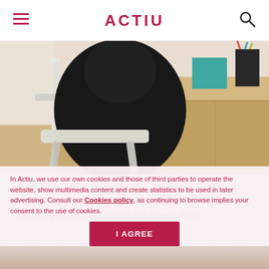ACTIU
[Figure (photo): Person seated in a white chair at a wooden desk with storage unit, teal box and pen holder visible in the background]
However, to ensure that this new way of working is productive and, above all, comfortable, it is important to carefully plan out how will be the home office.
In Actiu, we use our own cookies and those of third parties to operate the website, show multimedia content and create statistics to be used in later advertising. Consult our Cookies policy, as continuing to browse implies your consent to the use of cookies.
I AGREE